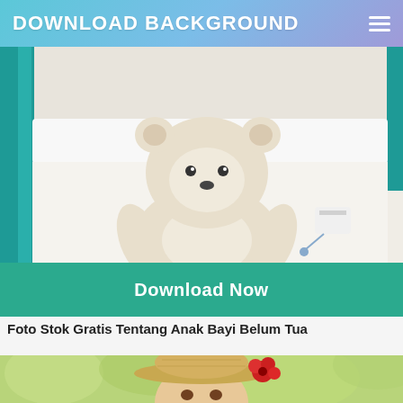DOWNLOAD BACKGROUND
[Figure (photo): White teddy bear sitting in a white baby crib with teal/dark painted slats visible on the sides]
Download Now
Foto Stok Gratis Tentang Anak Bayi Belum Tua
[Figure (photo): Young toddler wearing a straw hat with a red flower, photographed outdoors with green bokeh background]